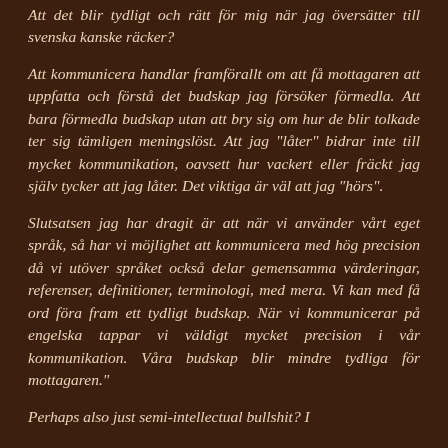Att det blir tydligt och rätt för mig när jag översätter till svenska kanske räcker?
Att kommunicera handlar framförallt om att få mottagaren att uppfatta och förstå det budskap jag försöker förmedla. Att bara förmedla budskap utan att bry sig om hur de blir tolkade ter sig tämligen meningslöst. Att jag "låter" bidrar inte till mycket kommunikation, oavsett hur vackert eller fräckt jag själv tycker att jag låter. Det viktiga är väl att jag "hörs".
Slutsatsen jag har dragit är att när vi använder vårt eget språk, så har vi möjlighet att kommunicera med hög precision då vi utöver språket också delar gemensamma värderingar, referenser, definitioner, terminologi, med mera. Vi kan med få ord föra fram ett tydligt budskap. När vi kommunicerar på engelska tappar vi väldigt mycket precision i vår kommunikation. Våra budskap blir mindre tydliga för mottagaren."
Perhaps also just semi-intellectual bullshit? I